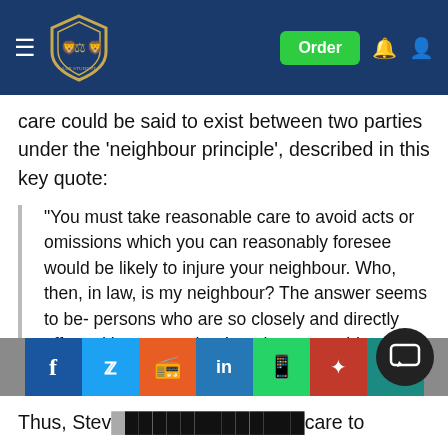Order [navigation bar with logo, hamburger menu, order button, bell icon, user icon]
care could be said to exist between two parties under the 'neighbour principle', described in this key quote:
"You must take reasonable care to avoid acts or omissions which you can reasonably foresee would be likely to injure your neighbour. Who, then, in law, is my neighbour? The answer seems to be- persons who are so closely and directly affected by my act that I ought reasonably to have them in contemplation as being so affected when I am directing my mind to the acts or omissions which are called into question." - Lord Atkin, Donoghue v Stevenson, at 44.
Thus, Steve [partial text with social share bar overlay] care to